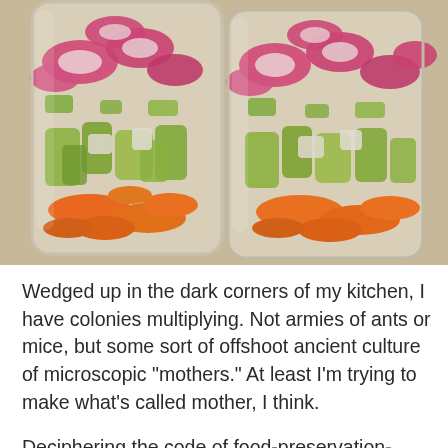[Figure (photo): Two glass mason jars filled with layers of pickled/fermented vegetables — orange carrot rounds at the bottom, green celery chunks in the middle, and pink/magenta radish slices and other vegetables at the top. The jars sit on a light countertop surface.]
Wedged up in the dark corners of my kitchen, I have colonies multiplying. Not armies of ants or mice, but some sort of offshoot ancient culture of microscopic "mothers." At least I'm trying to make what's called mother, I think.
Deciphering the code of food-preservation-speak is actually the hard part. Inviting bacteria to ferment and